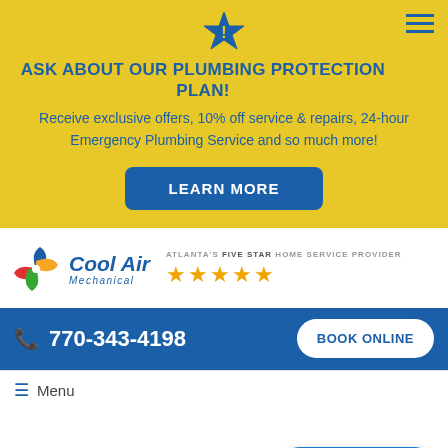[Figure (infographic): Yellow promotional banner with blue star icon, hamburger menu icon, headline, body text, and Learn More button]
ASK ABOUT OUR PLUMBING PROTECTION PLAN!
Receive exclusive offers, 10% off service & repairs, 24-hour Emergency Plumbing Service and so much more!
LEARN MORE
[Figure (logo): Cool Air Mechanical logo with pinwheel and text, plus Atlanta's Five Star Home Service Provider label with 5 gold stars]
770-343-4198
BOOK ONLINE
Menu
Chat with Us